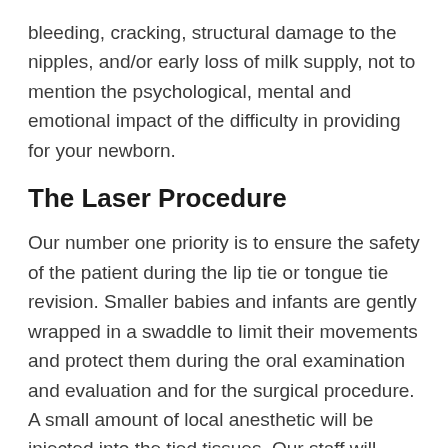bleeding, cracking, structural damage to the nipples, and/or early loss of milk supply, not to mention the psychological, mental and emotional impact of the difficulty in providing for your newborn.
The Laser Procedure
Our number one priority is to ensure the safety of the patient during the lip tie or tongue tie revision. Smaller babies and infants are gently wrapped in a swaddle to limit their movements and protect them during the oral examination and evaluation and for the surgical procedure. A small amount of local anesthetic will be injected into the tied tissues. Our staff will, with two hands, gently stabilize the